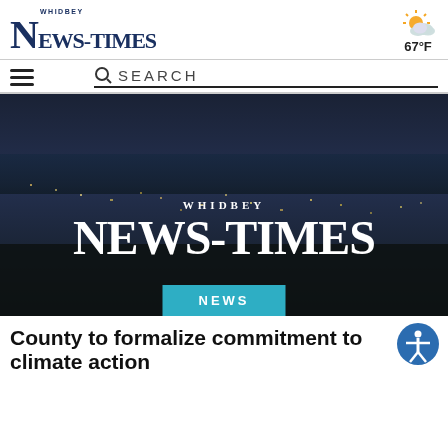Whidbey News-Times
[Figure (screenshot): Weather icon showing partly cloudy sun with temperature 67°F]
67°F
[Figure (other): Hamburger menu icon and search bar with magnifying glass icon and text SEARCH]
[Figure (photo): Aerial/drone photograph of a coastal town at dusk with Whidbey News-Times logo overlaid in white serif text, with a cyan NEWS badge at the bottom center]
County to formalize commitment to climate action